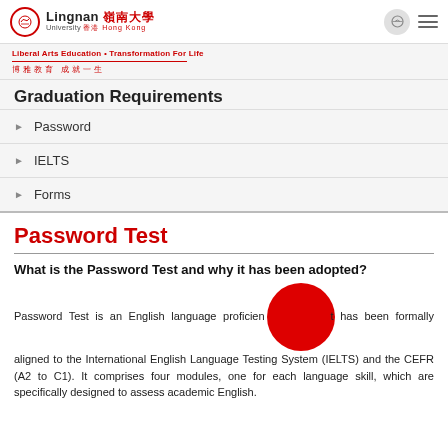Lingnan University Hong Kong — Liberal Arts Education • Transformation For Life
Graduation Requirements
Password
IELTS
Forms
Password Test
What is the Password Test and why it has been adopted?
Password Test is an English language proficiency test that has been formally aligned to the International English Language Testing System (IELTS) and the CEFR (A2 to C1). It comprises four modules, one for each language skill, which are specifically designed to assess academic English.